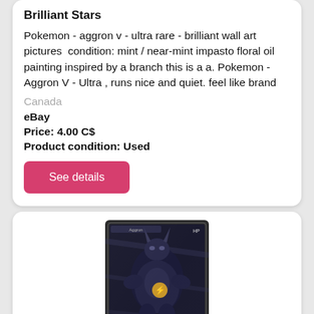Brilliant Stars
Pokemon - aggron v - ultra rare - brilliant wall art pictures  condition: mint / near-mint impasto floral oil painting inspired by a branch this is a a. Pokemon - Aggron V - Ultra , runs nice and quiet. feel like brand
Canada
eBay
Price: 4.00 C$
Product condition: Used
See details
[Figure (photo): Pokemon trading card featuring Aggron V - Ultra Rare from Brilliant Stars set, dark metallic card with Pokemon artwork]